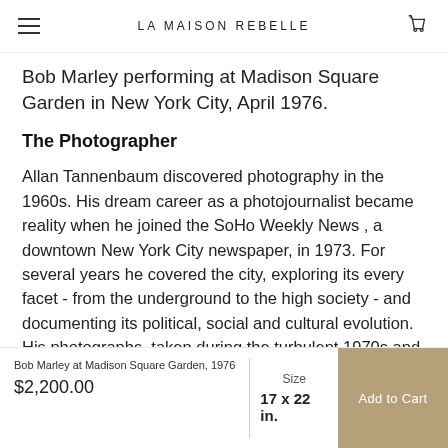LA MAISON REBELLE
Bob Marley performing at Madison Square Garden in New York City, April 1976.
The Photographer
Allan Tannenbaum discovered photography in the 1960s. His dream career as a photojournalist became reality when he joined the SoHo Weekly News , a downtown New York City newspaper, in 1973. For several years he covered the city, exploring its every facet - from the underground to the high society - and documenting its political, social and cultural evolution. His photographs, taken during the turbulent 1970s and early
Bob Marley at Madison Square Garden, 1976
$2,200.00
Size
17 x 22 in.
Add to Cart